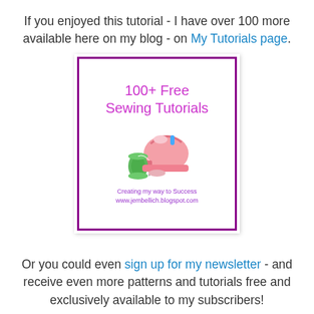If you enjoyed this tutorial - I have over 100 more available here on my blog - on My Tutorials page.
[Figure (illustration): A decorative box with purple border containing text '100+ Free Sewing Tutorials' in pink cursive font, an illustration of a pink sewing machine with green thread spool, and taglines 'Creating my way to Success' and 'www.jembellich.blogspot.com']
Or you could even sign up for my newsletter - and receive even more patterns and tutorials free and exclusively available to my subscribers!
[Figure (illustration): A signature/handwriting image at the bottom of the page]